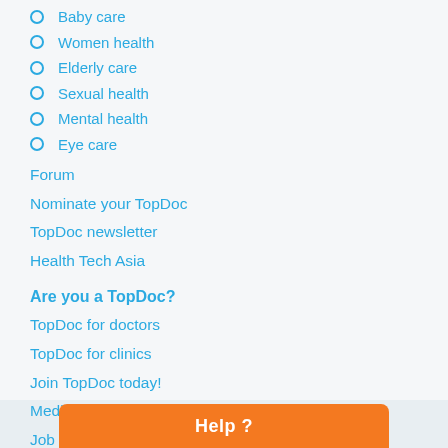Baby care
Women health
Elderly care
Sexual health
Mental health
Eye care
Forum
Nominate your TopDoc
TopDoc newsletter
Health Tech Asia
Are you a TopDoc?
TopDoc for doctors
TopDoc for clinics
Join TopDoc today!
Medical Intranet
Job Posting
Search instantly by   Doctor's or Clinic's Name   Specialty   Location   Availability   Insurance Coverage or Fees & Book an appointment with a few clicks
Help ?